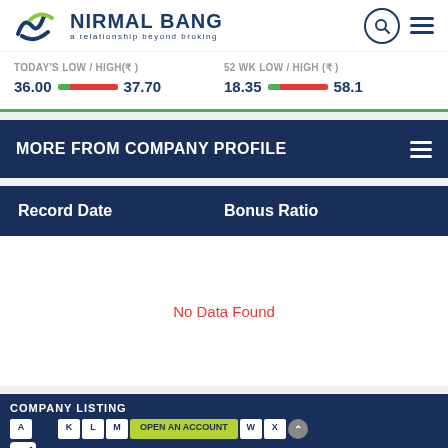NIRMAL BANG — a relationship beyond broking
TODAY'S LOW / HIGH(₹) 36.00 — 37.70 | 52 WK LOW / HIGH (₹) 18.35 — 58.1
MORE FROM COMPANY PROFILE
| Record Date | Bonus Ratio |
| --- | --- |
No Data Found
COMPANY LISTING | DOWNLOAD beyond app | OPEN AN ACCOUNT